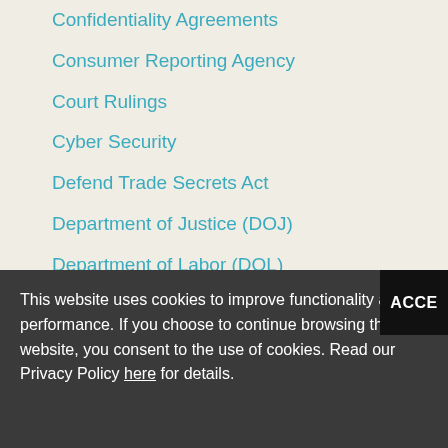Confidentiality Agreements
Consumer Reporting Agency
Court Rulings
Cyber Security
Defend Trade Secrets Act
Department of Justice (DOJ)
Department of Labor (DOL)
Discrimination
Drug Policies & Testing
This website uses cookies to improve functionality and performance. If you choose to continue browsing this website, you consent to the use of cookies. Read our Privacy Policy here for details.